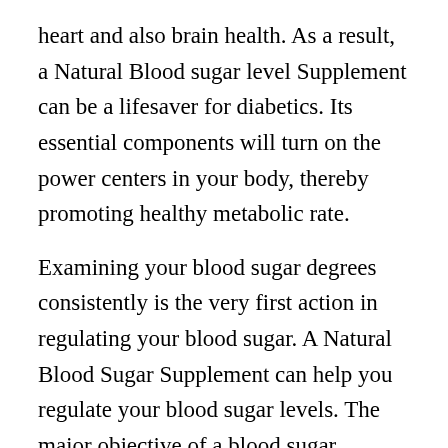heart and also brain health. As a result, a Natural Blood sugar level Supplement can be a lifesaver for diabetics. Its essential components will turn on the power centers in your body, thereby promoting healthy metabolic rate.
Examining your blood sugar degrees consistently is the very first action in regulating your blood sugar. A Natural Blood Sugar Supplement can help you regulate your blood sugar levels. The major objective of a blood sugar assistance supplement is to maintain blood sugar